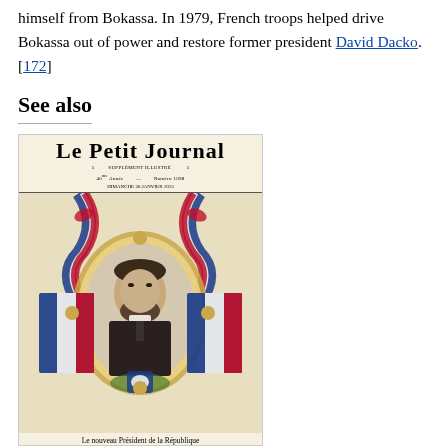himself from Bokassa. In 1979, French troops helped drive Bokassa out of power and restore former president David Dacko. [172]
See also
[Figure (illustration): Cover of Le Petit Journal supplement illustré showing a portrait of M. Raymond Poincaré as the new President of the Republic, surrounded by French flags and decorative elements. Captioned: 'Le nouveau Président de la République M. RAYMOND POINCARÉ']